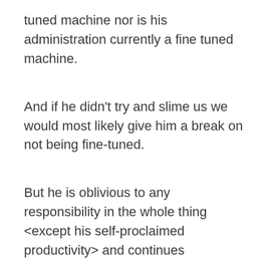tuned machine nor is his administration currently a fine tuned machine.
And if he didn't try and slime us we would most likely give him a break on not being fine-tuned.
But he is oblivious to any responsibility in the whole thing <except his self-proclaimed productivity> and continues